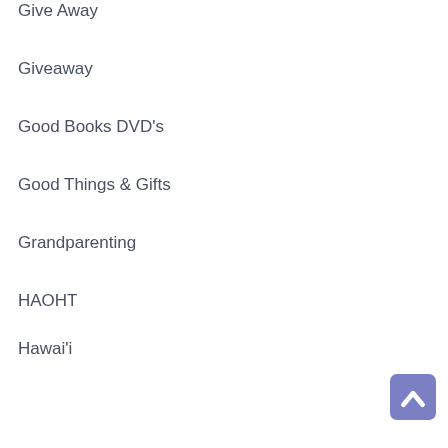Give Away
Giveaway
Good Books DVD's
Good Things & Gifts
Grandparenting
HAOHT
Hawai'i
Health / PCOS
Heard at our house today
Heart-Attack-recovery